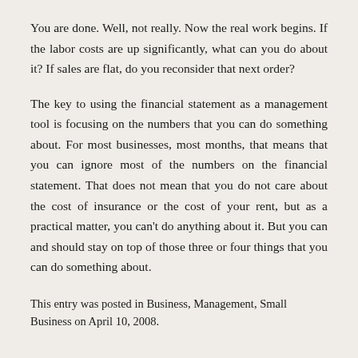You are done. Well, not really. Now the real work begins. If the labor costs are up significantly, what can you do about it? If sales are flat, do you reconsider that next order?
The key to using the financial statement as a management tool is focusing on the numbers that you can do something about. For most businesses, most months, that means that you can ignore most of the numbers on the financial statement. That does not mean that you do not care about the cost of insurance or the cost of your rent, but as a practical matter, you can't do anything about it. But you can and should stay on top of those three or four things that you can do something about.
This entry was posted in Business, Management, Small Business on April 10, 2008.